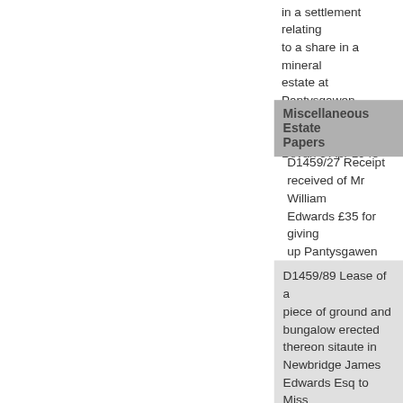in a settlement relating to a share in a mineral estate at Pantysgawen near Newbridge. W J Edwards esq to Mrs Bevan 3 Apr 1948
Miscellaneous Estate Papers
D1459/27 Receipt received of Mr William Edwards £35 for giving up Pantysgawen Farm the parish of Mynyddyslwyn Unsigned 2 Feb 1861
D1459/89 Lease of a piece of ground and bungalow erected thereon sitaute in Newbridge James Edwards Esq to Miss M. George 20 Nov 19